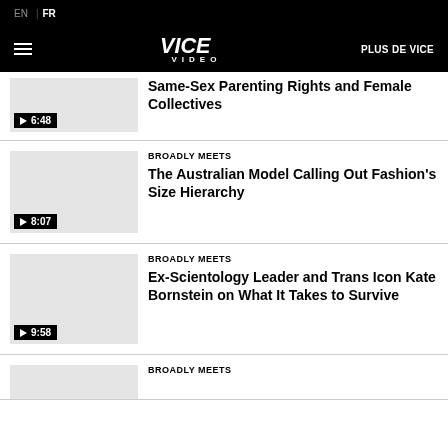EN | FR
VICE VIDEO | PLUS DE VICE
Same-Sex Parenting Rights and Female Collectives — 6:48
BROADLY MEETS — The Australian Model Calling Out Fashion's Size Hierarchy — 8:07
BROADLY MEETS — Ex-Scientology Leader and Trans Icon Kate Bornstein on What It Takes to Survive — 9:58
BROADLY MEETS (partial)